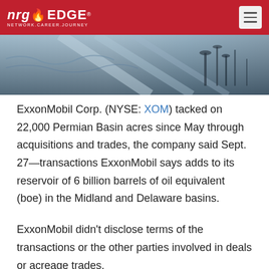nrgEDGE - NETWORK.CAREER.JOURNEY
[Figure (photo): Abstract banner image showing oil/gas industry equipment and abstract blue geometric overlay]
ExxonMobil Corp. (NYSE: XOM) tacked on 22,000 Permian Basin acres since May through acquisitions and trades, the company said Sept. 27—transactions ExxonMobil says adds to its reservoir of 6 billion barrels of oil equivalent (boe) in the Midland and Delaware basins.
ExxonMobil didn't disclose terms of the transactions or the other parties involved in deals or acreage trades.